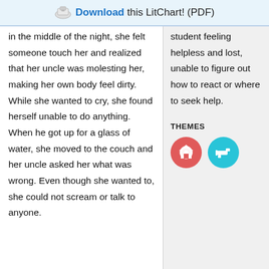Download this LitChart! (PDF)
in the middle of the night, she felt someone touch her and realized that her uncle was molesting her, making her own body feel dirty. While she wanted to cry, she found herself unable to do anything. When he got up for a glass of water, she moved to the couch and her uncle asked her what was wrong. Even though she wanted to, she could not scream or talk to anyone.
student feeling helpless and lost, unable to figure out how to react or where to seek help.
THEMES
[Figure (illustration): Two circular theme icons: a red/coral circle with a house icon, and a cyan/teal circle with a gun icon.]